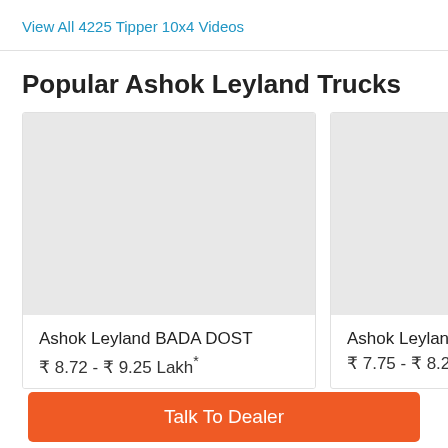View All 4225 Tipper 10x4 Videos
Popular Ashok Leyland Trucks
[Figure (photo): Placeholder image for Ashok Leyland BADA DOST truck card]
Ashok Leyland BADA DOST
₹ 8.72 - ₹ 9.25 Lakh*
[Figure (photo): Placeholder image for Ashok Leyland Dost truck card (partially visible)]
Ashok Leyland Dos…
₹ 7.75 - ₹ 8.25 La…
Talk To Dealer